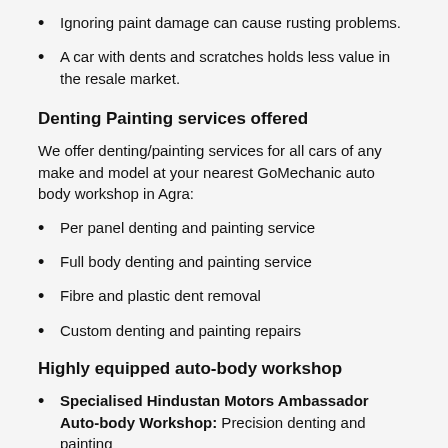Ignoring paint damage can cause rusting problems.
A car with dents and scratches holds less value in the resale market.
Denting Painting services offered
We offer denting/painting services for all cars of any make and model at your nearest GoMechanic auto body workshop in Agra:
Per panel denting and painting service
Full body denting and painting service
Fibre and plastic dent removal
Custom denting and painting repairs
Highly equipped auto-body workshop
Specialised Hindustan Motors Ambassador Auto-body Workshop: Precision denting and painting